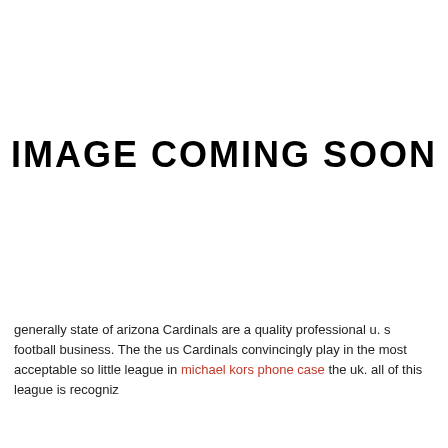[Figure (other): Placeholder image with bold text reading IMAGE COMING SOON on white background]
generally state of arizona Cardinals are a quality professional u. s football business. The the us Cardinals convincingly play in the most acceptable so little league in michael kors phone case the uk. all of this league is recogniz